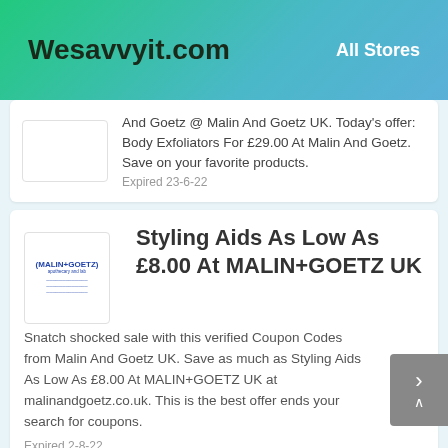Wesavvyit.com | All Stores
And Goetz @ Malin And Goetz UK. Today's offer: Body Exfoliators For £29.00 At Malin And Goetz. Save on your favorite products. Expired 23-6-22
Styling Aids As Low As £8.00 At MALIN+GOETZ UK
Snatch shocked sale with this verified Coupon Codes from Malin And Goetz UK. Save as much as Styling Aids As Low As £8.00 At MALIN+GOETZ UK at malinandgoetz.co.uk. This is the best offer ends your search for coupons. Expired 2-8-22